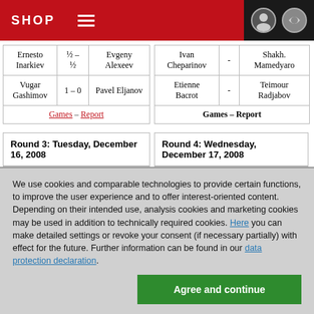SHOP
| Player 1 | Score | Player 2 |
| --- | --- | --- |
| Ernesto Inarkiev | ½–½ | Evgeny Alexeev |
| Vugar Gashimov | 1–0 | Pavel Eljanov |
| Games – Report |  |  |
| Player 1 | Score | Player 2 |
| --- | --- | --- |
| Ivan Cheparinov | - | Shakh. Mamedyarov |
| Etienne Bacrot | - | Teimour Radjabov |
| Games – Report |  |  |
| Round 3: Tuesday, December 16, 2008 |
| --- |
| Teimour |  | Rustam |
| Round 4: Wednesday, December 17, 2008 |
| --- |
| Rustam |  | Evgeny |
We use cookies and comparable technologies to provide certain functions, to improve the user experience and to offer interest-oriented content. Depending on their intended use, analysis cookies and marketing cookies may be used in addition to technically required cookies. Here you can make detailed settings or revoke your consent (if necessary partially) with effect for the future. Further information can be found in our data protection declaration.